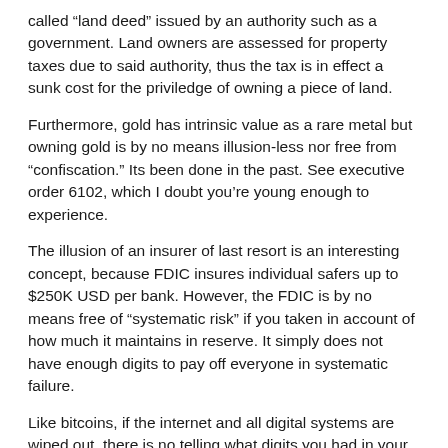called “land deed” issued by an authority such as a government. Land owners are assessed for property taxes due to said authority, thus the tax is in effect a sunk cost for the priviledge of owning a piece of land.
Furthermore, gold has intrinsic value as a rare metal but owning gold is by no means illusion-less nor free from “confiscation.” Its been done in the past. See executive order 6102, which I doubt you’re young enough to experience.
The illusion of an insurer of last resort is an interesting concept, because FDIC insures individual safers up to $250K USD per bank. However, the FDIC is by no means free of “systematic risk” if you taken in account of how much it maintains in reserve. It simply does not have enough digits to pay off everyone in systematic failure.
Like bitcoins, if the internet and all digital systems are wiped out, there is no telling what digits you had in your bank accounts. Thus, your banks are not obliged to honor your claims because due diligence of record keeping could not be maintained.